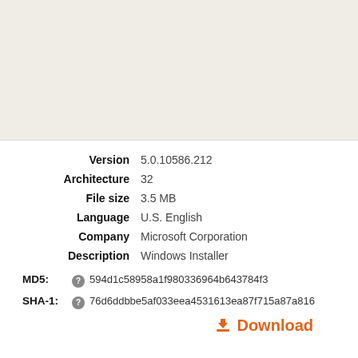[Figure (other): Blank/image area at top of page with beige background]
| Version | 5.0.10586.212 |
| Architecture | 32 |
| File size | 3.5 MB |
| Language | U.S. English |
| Company | Microsoft Corporation |
| Description | Windows Installer |
MD5: 594d1c58958a1f980336964b643784f3
SHA-1: 76d6ddbbe5af033eea4531613ea87f715a87a816
Download